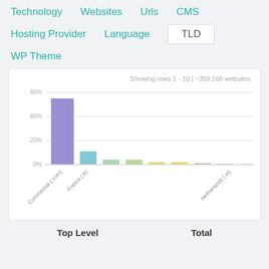Technology
Websites
Urls
CMS
Hosting Provider
Language
TLD
WP Theme
Showing rows 1 - 10 | ~359,166 websites
[Figure (bar-chart): TLD distribution]
| Top Level | Total |
| --- | --- |